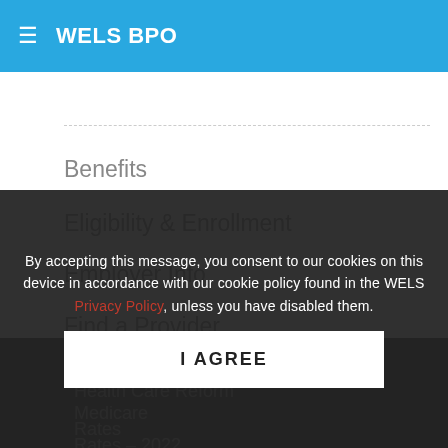≡  WELS BPO
Benefits
Eligibility & Enrollment
Employer Info
Find a Provider
Forms & Resources
Health Care Reform
Medicare
Rates
Rates – 2022
Rates – 2023
By accepting this message, you consent to our cookies on this device in accordance with our cookie policy found in the WELS Privacy Policy, unless you have disabled them.
I AGREE